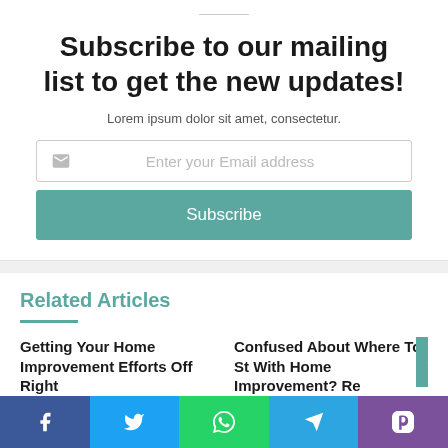Subscribe to our mailing list to get the new updates!
Lorem ipsum dolor sit amet, consectetur.
Enter your Email address
Subscribe
Related Articles
Getting Your Home Improvement Efforts Off Right
Confused About Where To Start With Home Improvement? Re